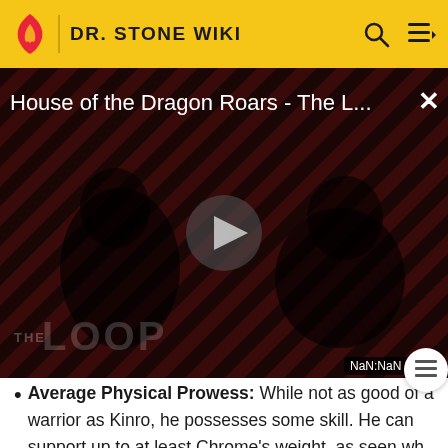DR. STONE WIKI
[Figure (screenshot): Video player showing 'House of the Dragon Roars - The L...' with a play button in the center, diagonal red and dark stripe pattern background with silhouetted figures, 'THE LOOP' text at bottom left, and NaN:NaN timestamp badge at bottom right.]
Average Physical Prowess: While not as good of a warrior as Kinro, he possesses some skill. He can support up to at least Chrome's weight, as seen wh he managed to keep him held up by his spear, albeit with great difficulty. He managed to defeat Argo, the physically third most powerful man in the village